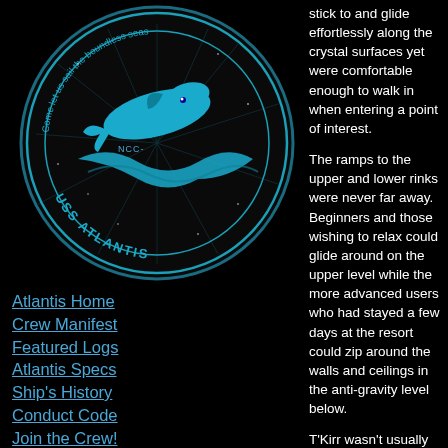[Figure (logo): USS Atlantis circular logo with whale/spacecraft and text 'Come let us sail the boundless seas', 'NCC-...' 'USS ATLANTIS']
Atlantis Home
Crew Manifest
Featured Logs
Atlantis Specs
Ship's History
Conduct Code
Join the Crew!
[Figure (logo): Starfleet insignia / delta shield in gold/yellow]
Atlantis Wiki
Sim Chatlogs
Site Archives
Site Admin
stick to and glide effortlessly along the crystal surfaces yet were comfortable enough to walk in when entering a point of interest.
The ramps to the upper and lower rinks were never far away. Beginners and those wishing to relax could glide around on the upper level while the more advanced users who had stayed a few days at the resort could zip around the walls and ceilings in the anti-gravity level below.
T'Kirr wasn't usually much one for shopping, but she had enjoyed perusing a curio shop and had found a small plasma globe with a slowly churning cloud inside. The clerk said it was called a Scarlet Hazer. She was fascinated by it, having never seen one before, and was told it was quite rare and expensive. At this, T'Kirr put the globe down and thanked the clerk for her assistance. The clerk, having clearly not wanted this at...